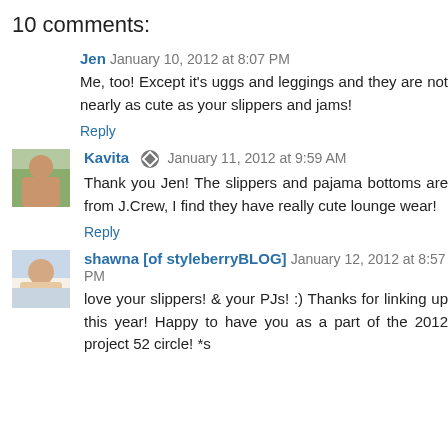10 comments:
Jen January 10, 2012 at 8:07 PM
Me, too! Except it's uggs and leggings and they are not nearly as cute as your slippers and jams!
Reply
Kavita January 11, 2012 at 9:59 AM
Thank you Jen! The slippers and pajama bottoms are from J.Crew, I find they have really cute lounge wear!
Reply
shawna [of styleberryBLOG] January 12, 2012 at 8:57 PM
love your slippers! & your PJs! :) Thanks for linking up this year! Happy to have you as a part of the 2012 project 52 circle! *s